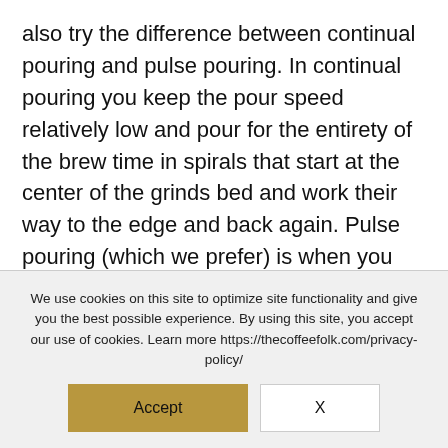also try the difference between continual pouring and pulse pouring. In continual pouring you keep the pour speed relatively low and pour for the entirety of the brew time in spirals that start at the center of the grinds bed and work their way to the edge and back again. Pulse pouring (which we prefer) is when you pour the water onto the grinds in a number of small increments. This tends to be a slightly faster pour time where you pour a little water in the spiral shape wait for the water to soak through, and then do it
We use cookies on this site to optimize site functionality and give you the best possible experience. By using this site, you accept our use of cookies. Learn more https://thecoffeefolk.com/privacy-policy/